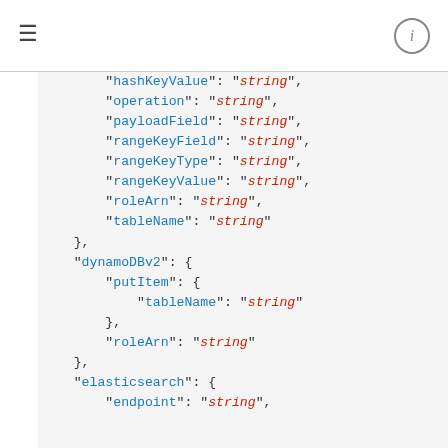≡  (i)
"hashKeyValue": "string",
"operation": "string",
"payloadField": "string",
"rangeKeyField": "string",
"rangeKeyType": "string",
"rangeKeyValue": "string",
"roleArn": "string",
"tableName": "string"
},
"dynamoDBv2": {
    "putItem": {
        "tableName": "string"
    },
    "roleArn": "string"
},
"elasticsearch": {
    "endpoint": "string",